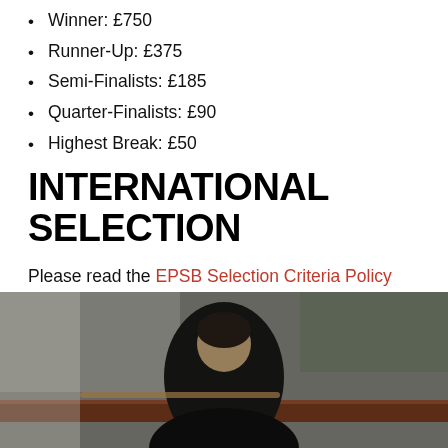Winner: £750
Runner-Up: £375
Semi-Finalists: £185
Quarter-Finalists: £90
Highest Break: £50
INTERNATIONAL SELECTION
Please read the EPSB Selection Criteria Policy 2022/23 for information on player selection for international events.
[Figure (photo): A snooker player bending over a snooker table, photographed from close range with shallow depth of field. The image shows a dark figure leaning over a brown table rail.]